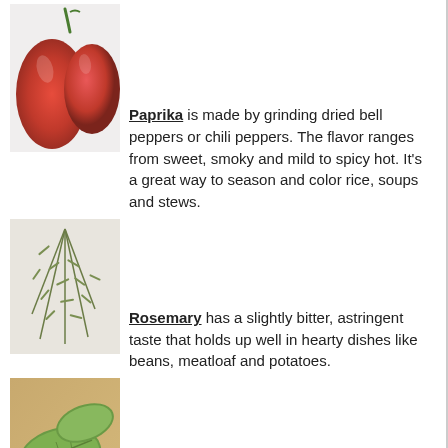[Figure (photo): Close-up photo of red bell peppers or chili peppers with green stem]
Paprika is made by grinding dried bell peppers or chili peppers. The flavor ranges from sweet, smoky and mild to spicy hot. It's a great way to season and color rice, soups and stews.
[Figure (photo): Photo of rosemary sprigs on a light background]
Rosemary has a slightly bitter, astringent taste that holds up well in hearty dishes like beans, meatloaf and potatoes.
[Figure (photo): Photo of sage leaves on a wooden background]
Sage tastes a little like evergreen or camphor. It's often used in poultry stuffings and with lean meats. It's also a nice